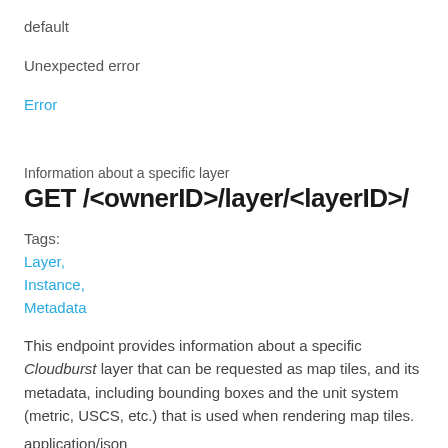default
Unexpected error
Error
Information about a specific layer
GET /<ownerID>/layer/<layerID>/
Tags:
Layer,
Instance,
Metadata
This endpoint provides information about a specific Cloudburst layer that can be requested as map tiles, and its metadata, including bounding boxes and the unit system (metric, USCS, etc.) that is used when rendering map tiles.
application/json
200 OK